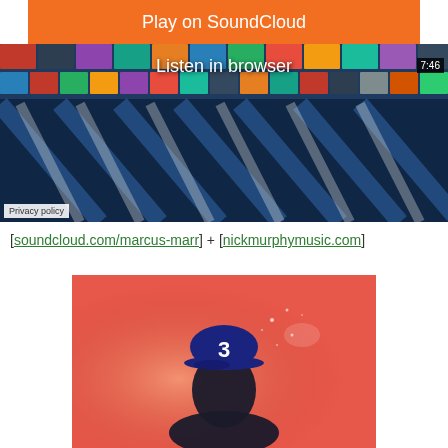[Figure (screenshot): SoundCloud embedded player with orange 'Play on SoundCloud' button, 'Listen in browser' text overlay on music collage background, duration 7:46, Privacy policy label]
[soundcloud.com/marcus-marr] + [nickmurphymusic.com]
[Figure (photo): Album cover with red/coral background and person wearing dark blue cap with number 3 on it]